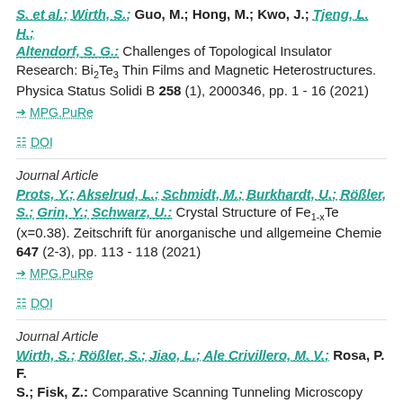S. et al.; Wirth, S.; Guo, M.; Hong, M.; Kwo, J.; Tjeng, L. H.; Altendorf, S. G.: Challenges of Topological Insulator Research: Bi2Te3 Thin Films and Magnetic Heterostructures. Physica Status Solidi B 258 (1), 2000346, pp. 1 - 16 (2021)
MPG.PuRe   DOI
Journal Article
Prots, Y.; Akselrud, L.; Schmidt, M.; Burkhardt, U.; Rößler, S.; Grin, Y.; Schwarz, U.: Crystal Structure of Fe1-xTe (x=0.38). Zeitschrift für anorganische und allgemeine Chemie 647 (2-3), pp. 113 - 118 (2021)
MPG.PuRe   DOI
Journal Article
Wirth, S.; Rößler, S.; Jiao, L.; Ale Crivillero, M. V.; Rosa, P. F. S.; Fisk, Z.: Comparative Scanning Tunneling Microscopy Study on Hexaborides. Physica Status Solidi B 258 (1),